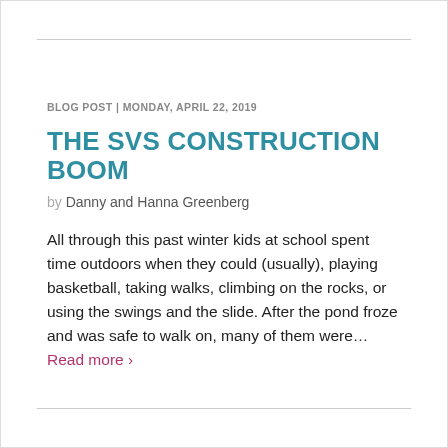BLOG POST | MONDAY, APRIL 22, 2019
THE SVS CONSTRUCTION BOOM
by Danny and Hanna Greenberg
All through this past winter kids at school spent time outdoors when they could (usually), playing basketball, taking walks, climbing on the rocks, or using the swings and the slide. After the pond froze and was safe to walk on, many of them were… Read more ›